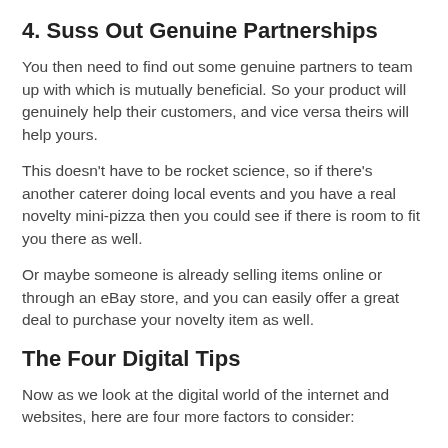4. Suss Out Genuine Partnerships
You then need to find out some genuine partners to team up with which is mutually beneficial. So your product will genuinely help their customers, and vice versa theirs will help yours.
This doesn't have to be rocket science, so if there's another caterer doing local events and you have a real novelty mini-pizza then you could see if there is room to fit you there as well.
Or maybe someone is already selling items online or through an eBay store, and you can easily offer a great deal to purchase your novelty item as well.
The Four Digital Tips
Now as we look at the digital world of the internet and websites, here are four more factors to consider: